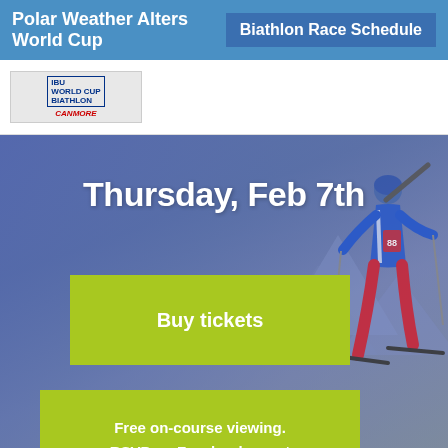Polar Weather Alters World Cup
Biathlon Race Schedule
[Figure (logo): BMW IBU World Cup Biathlon and Canmore logos]
Thursday, Feb 7th
Buy tickets
Free on-course viewing. RSVP on Facebook event